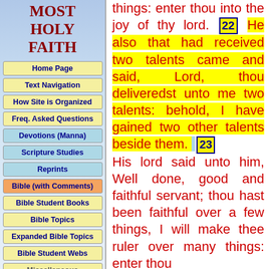MOST HOLY FAITH
Home Page
Text Navigation
How Site is Organized
Freq. Asked Questions
Devotions (Manna)
Scripture Studies
Reprints
Bible (with Comments)
Bible Student Books
Bible Topics
Expanded Bible Topics
Bible Student Webs
Miscellaneous
things: enter thou into the joy of thy lord. 22 He also that had received two talents came and said, Lord, thou deliveredst unto me two talents: behold, I have gained two other talents beside them. 23 His lord said unto him, Well done, good and faithful servant; thou hast been faithful over a few things, I will make thee ruler over many things: enter thou